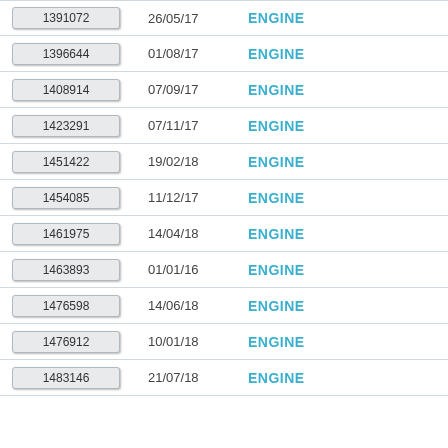| ID | Date | Type |
| --- | --- | --- |
| 1391072 | 26/05/17 | ENGINE |
| 1396644 | 01/08/17 | ENGINE |
| 1408914 | 07/09/17 | ENGINE |
| 1423291 | 07/11/17 | ENGINE |
| 1451422 | 19/02/18 | ENGINE |
| 1454085 | 11/12/17 | ENGINE |
| 1461975 | 14/04/18 | ENGINE |
| 1463893 | 01/01/16 | ENGINE |
| 1476598 | 14/06/18 | ENGINE |
| 1476912 | 10/01/18 | ENGINE |
| 1483146 | 21/07/18 | ENGINE |